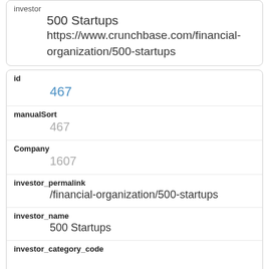investor
500 Startups
https://www.crunchbase.com/financial-organization/500-startups
| id | 467 |
| manualSort | 467 |
| Company | 1607 |
| investor_permalink | /financial-organization/500-startups |
| investor_name | 500 Startups |
| investor_category_code |  |
| investor_country_code | USA |
| investor_state_code | CA |